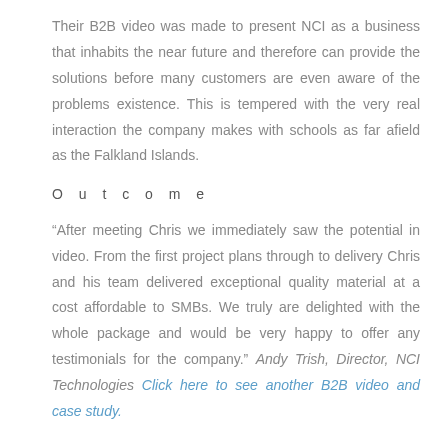Their B2B video was made to present NCI as a business that inhabits the near future and therefore can provide the solutions before many customers are even aware of the problems existence. This is tempered with the very real interaction the company makes with schools as far afield as the Falkland Islands.
Outcome
“After meeting Chris we immediately saw the potential in video. From the first project plans through to delivery Chris and his team delivered exceptional quality material at a cost affordable to SMBs. We truly are delighted with the whole package and would be very happy to offer any testimonials for the company.” Andy Trish, Director, NCI Technologies Click here to see another B2B video and case study.